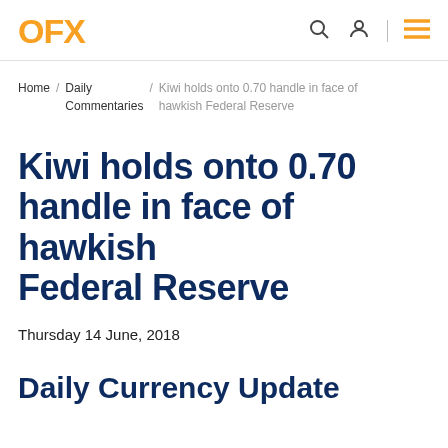OFX
Home / Daily Commentaries / Kiwi holds onto 0.70 handle in face of hawkish Federal Reserve
Kiwi holds onto 0.70 handle in face of hawkish Federal Reserve
Thursday 14 June, 2018
Daily Currency Update